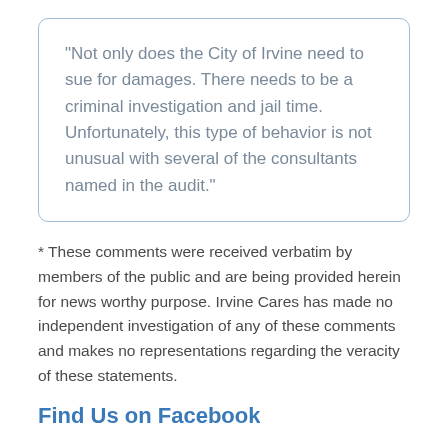“Not only does the City of Irvine need to sue for damages. There needs to be a criminal investigation and jail time. Unfortunately, this type of behavior is not unusual with several of the consultants named in the audit.”
* These comments were received verbatim by members of the public and are being provided herein for news worthy purpose. Irvine Cares has made no independent investigation of any of these comments and makes no representations regarding the veracity of these statements.
Find Us on Facebook